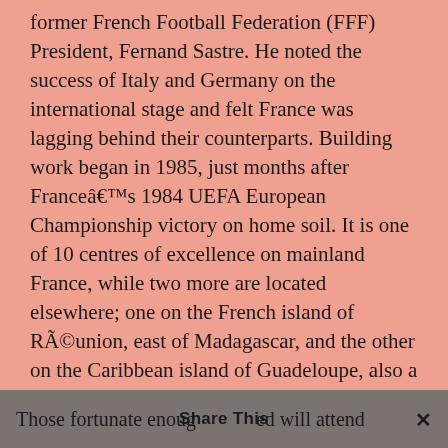former French Football Federation (FFF) President, Fernand Sastre. He noted the success of Italy and Germany on the international stage and felt France was lagging behind their counterparts. Building work began in 1985, just months after Franceâ€™s 1984 UEFA European Championship victory on home soil. It is one of 10 centres of excellence on mainland France, while two more are located elsewhere; one on the French island of RÃ©union, east of Madagascar, and the other on the Caribbean island of Guadeloupe, also a French territory. Prospective players must hold French citizenship and be at least 13 years of age. The best players are selected by their clubs to attend a trial at Clairefontaine around Easter time. Of the participants, 22 will be selected to stay, train and learn full time at the academy.
Those fortunate enough to be selected will attend